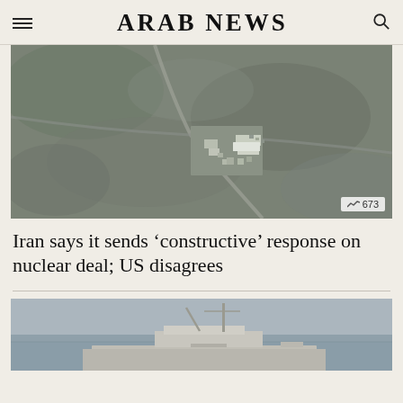ARAB NEWS
[Figure (photo): Aerial satellite image of a construction site in a rocky, arid landscape, likely an Iranian nuclear facility. The image shows buildings, equipment, and roads on barren terrain. A badge showing '673' appears in the bottom right corner.]
Iran says it sends ‘constructive’ response on nuclear deal; US disagrees
[Figure (photo): Partial aerial or naval photograph showing what appears to be a ship or vessel at sea, with masts visible against a grey sky and water.]